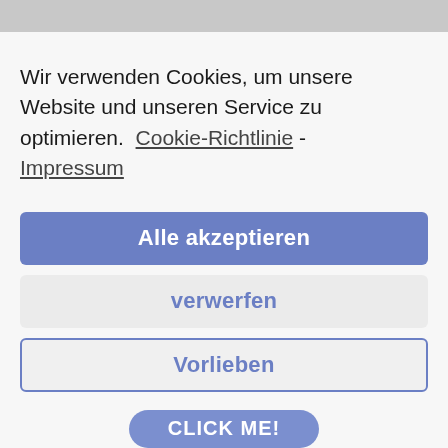Wir verwenden Cookies, um unsere Website und unseren Service zu optimieren.  Cookie-Richtlinie - Impressum
Alle akzeptieren
verwerfen
Vorlieben
CLICK ME!